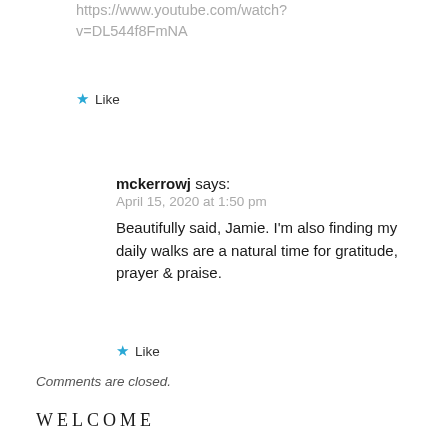https://www.youtube.com/watch?v=DL544f8FmNA
★ Like
mckerrowj says:
April 15, 2020 at 1:50 pm
Beautifully said, Jamie. I'm also finding my daily walks are a natural time for gratitude, prayer & praise.
★ Like
Comments are closed.
WELCOME